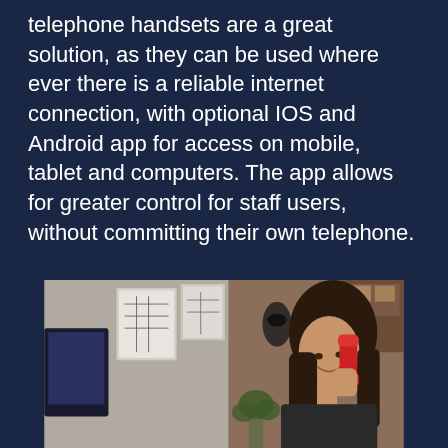telephone handsets are a great solution, as they can be used where ever there is a reliable internet connection, with optional IOS and Android app for access on mobile, tablet and computers. The app allows for greater control for staff users, without committing their own telephone.
[Figure (photo): A smiling young woman with dark hair talking on a red telephone handset, with an office background including a computer monitor, papers on wall, and a plant.]